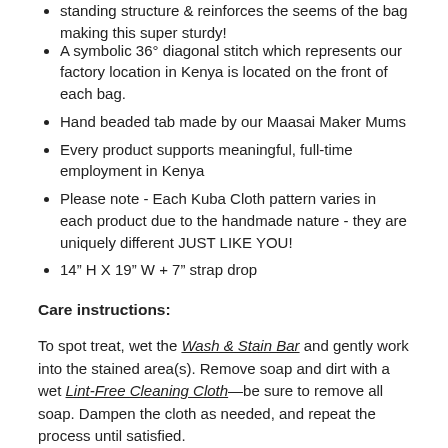standing structure & reinforces the seems of the bag making this super sturdy!
A symbolic 36° diagonal stitch which represents our factory location in Kenya is located on the front of each bag.
Hand beaded tab made by our Maasai Maker Mums
Every product supports meaningful, full-time employment in Kenya
Please note - Each Kuba Cloth pattern varies in each product due to the handmade nature - they are uniquely different JUST LIKE YOU!
14" H X 19" W + 7" strap drop
Care instructions:
To spot treat, wet the Wash & Stain Bar and gently work into the stained area(s). Remove soap and dirt with a wet Lint-Free Cleaning Cloth—be sure to remove all soap. Dampen the cloth as needed, and repeat the process until satisfied.
If necessary, gently wipe your print with a soft cloth that